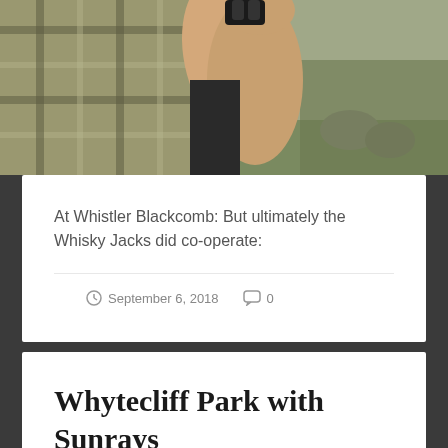[Figure (photo): Close-up photo of a person in a plaid/checkered shirt with their arm raised, holding something up, with green foliage and rocks in the background at Whistler Blackcomb.]
At Whistler Blackcomb: But ultimately the Whisky Jacks did co-operate:
September 6, 2018  0
Whytecliff Park with Sunrays